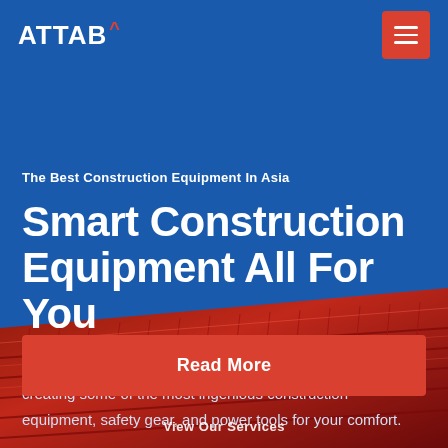[Figure (logo): ATTAB logo with roof-caret symbol in white and red on blue background]
[Figure (illustration): Hamburger menu button in red/orange square]
The Best Construction Equipment In Asia
Smart Construction Equipment All For You
Ramblin Worker is Asia's first pioneer in designing and creating some of the most ingenious construction equipment, safety gear, and power tools for your comfort.
[Figure (photo): Red metallic roof tiles viewed from below against blue sky, dramatic angle]
Read More
View Our Services